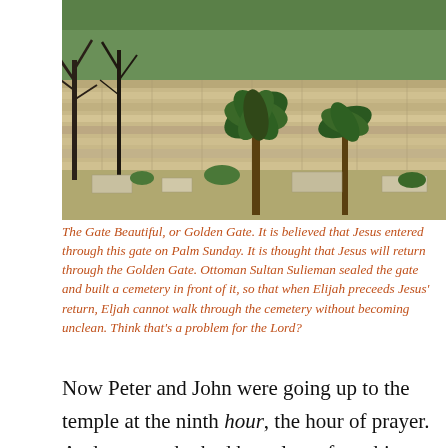[Figure (photo): Aerial/elevated photograph of the Gate Beautiful (Golden Gate) in Jerusalem, showing stone walls, palm trees, and cemetery grounds with greenery in the background.]
The Gate Beautiful, or Golden Gate. It is believed that Jesus entered through this gate on Palm Sunday. It is thought that Jesus will return through the Golden Gate. Ottoman Sultan Sulieman sealed the gate and built a cemetery in front of it, so that when Elijah preceeds Jesus' return, Eljah cannot walk through the cemetery without becoming unclean. Think that's a problem for the Lord?
Now Peter and John were going up to the temple at the ninth hour, the hour of prayer. And a man who had been lame from his mother's womb was being carried along, whom they used to set